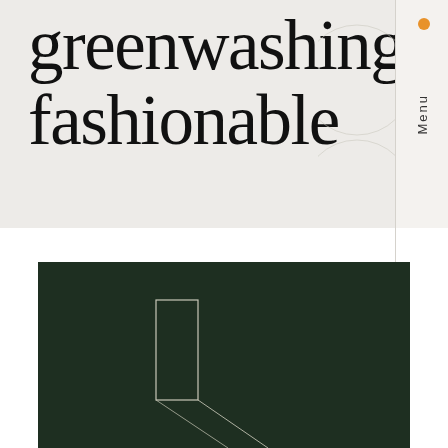greenwashing fashionable
Menu
[Figure (illustration): Dark green rectangular image block with thin white geometric line drawing showing an abstract architectural shape — a narrow rectangle (like a doorway or pillar) with diagonal lines extending from it, rendered in outline only on a deep forest-green background.]